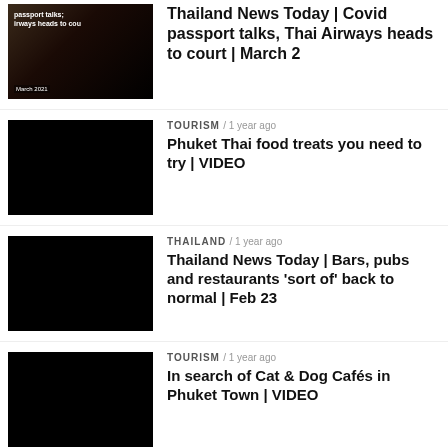Thailand News Today | Covid passport talks, Thai Airways heads to court | March 2
TOURISM / 1 year ago — Phuket Thai food treats you need to try | VIDEO
THAILAND / 1 year ago — Thailand News Today | Bars, pubs and restaurants 'sort of' back to normal | Feb 23
TOURISM / 1 year ago — In search of Cat & Dog Cafés in Phuket Town | VIDEO
THAILAND / 2 years ago — Thailand News Today | Gambling crackdown, Seafood market to reopen, Vlogger challenge | Jan 21